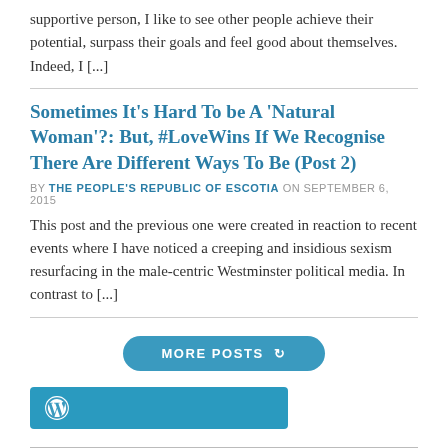supportive person, I like to see other people achieve their potential, surpass their goals and feel good about themselves. Indeed, I [...]
Sometimes It’s Hard To be A ‘Natural Woman’?: But, #LoveWins If We Recognise There Are Different Ways To Be (Post 2)
BY THE PEOPLE’S REPUBLIC OF ESCOTIA ON SEPTEMBER 6, 2015
This post and the previous one were created in reaction to recent events where I have noticed a creeping and insidious sexism resurfacing in the male-centric Westminster political media. In contrast to [...]
[Figure (other): A teal rounded button labeled MORE POSTS with a refresh icon]
[Figure (other): WordPress logo bar in teal/blue color]
Recent Posts
Sing Sista Sing – Must See Hit Edinburgh 2022 August 25, 2022